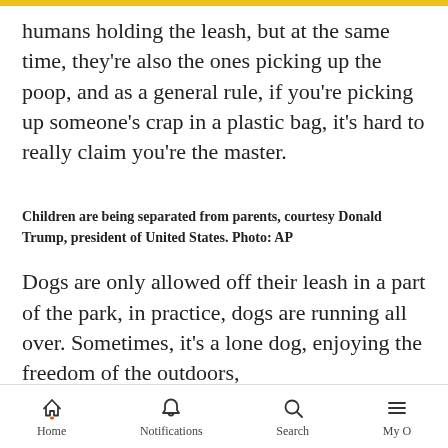humans holding the leash, but at the same time, they're also the ones picking up the poop, and as a general rule, if you're picking up someone's crap in a plastic bag, it's hard to really claim you're the master.
Children are being separated from parents, courtesy Donald Trump, president of United States. Photo: AP
Dogs are only allowed off their leash in a part of the park, in practice, dogs are running all over. Sometimes, it's a lone dog, enjoying the freedom of the outdoors,
Home  Notifications  Search  My O